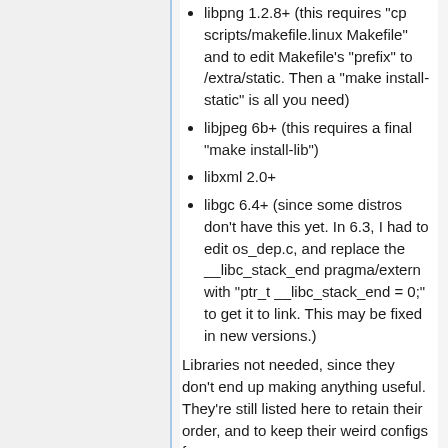libpng 1.2.8+ (this requires "cp scripts/makefile.linux Makefile" and to edit Makefile's "prefix" to /extra/static. Then a "make install-static" is all you need)
libjpeg 6b+ (this requires a final "make install-lib")
libxml 2.0+
libgc 6.4+ (since some distros don't have this yet. In 6.3, I had to edit os_dep.c, and replace the __libc_stack_end pragma/extern with "ptr_t __libc_stack_end = 0;" to get it to link. This may be fixed in new versions.)
Libraries not needed, since they don't end up making anything useful. They're still listed here to retain their order, and to keep their weird configs for anyone